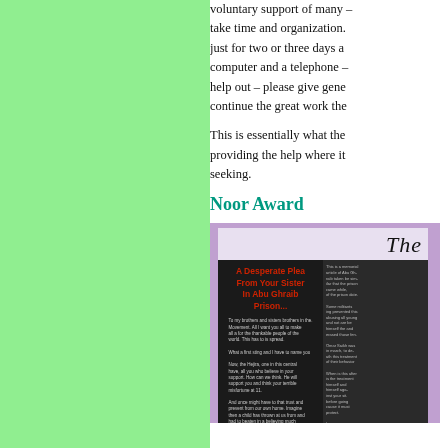[Figure (illustration): Green panel on left side of page]
voluntary support of many – take time and organization. just for two or three days a computer and a telephone – help out – please give gene continue the great work the
This is essentially what the providing the help where it seeking.
Noor Award
[Figure (photo): Magazine image with purple background showing a magazine cover titled 'The' with a dark insert reading 'A Desperate Plea From Your Sister In Abu Ghraib Prison...' in red text on black background, with small body text and a photo at bottom.]